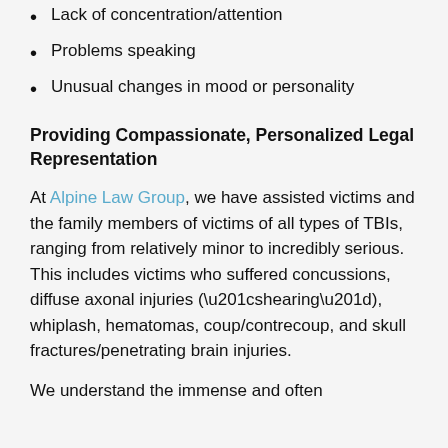Lack of concentration/attention
Problems speaking
Unusual changes in mood or personality
Providing Compassionate, Personalized Legal Representation
At Alpine Law Group, we have assisted victims and the family members of victims of all types of TBIs, ranging from relatively minor to incredibly serious. This includes victims who suffered concussions, diffuse axonal injuries (“shearing”), whiplash, hematomas, coup/contrecoup, and skull fractures/penetrating brain injuries.
We understand the immense and often